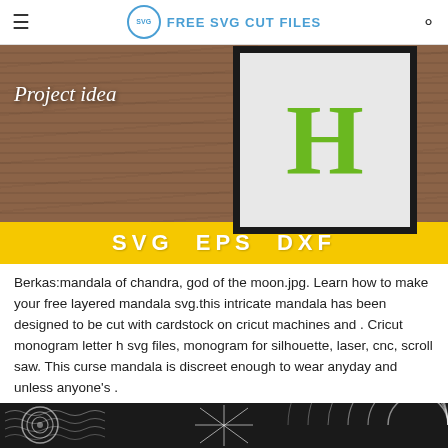FREE SVG CUT FILES
[Figure (photo): Wood background with framed decorative letter H in green, showing 'Project idea' text overlay, and a yellow banner at the bottom reading 'SVG EPS DXF']
Berkas:mandala of chandra, god of the moon.jpg. Learn how to make your free layered mandala svg.this intricate mandala has been designed to be cut with cardstock on cricut machines and . Cricut monogram letter h svg files, monogram for silhouette, laser, cnc, scroll saw. This curse mandala is discreet enough to wear anyday and unless anyone's .
[Figure (photo): Dark background with white spiral/mandala pattern designs]